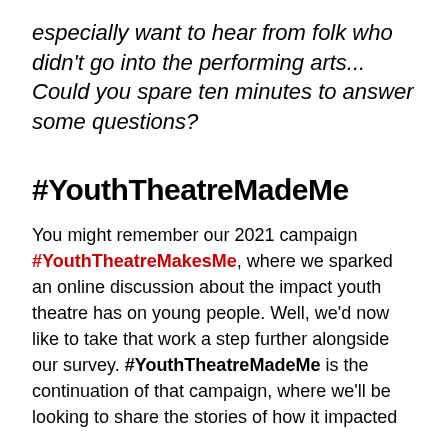especially want to hear from folk who didn't go into the performing arts... Could you spare ten minutes to answer some questions?
#YouthTheatreMadeMe
You might remember our 2021 campaign #YouthTheatreMakesMe, where we sparked an online discussion about the impact youth theatre has on young people. Well, we'd now like to take that work a step further alongside our survey. #YouthTheatreMadeMe is the continuation of that campaign, where we'll be looking to share the stories of how it impacted